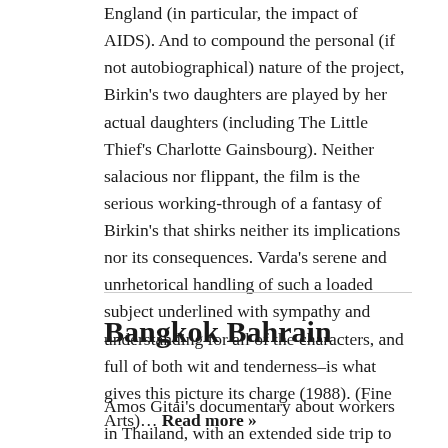England (in particular, the impact of AIDS). And to compound the personal (if not autobiographical) nature of the project, Birkin's two daughters are played by her actual daughters (including The Little Thief's Charlotte Gainsbourg). Neither salacious nor flippant, the film is the serious working-through of a fantasy of Birkin's that shirks neither its implications nor its consequences. Varda's serene and unrhetorical handling of such a loaded subject underlined with sympathy and understanding for all of the characters, and full of both wit and tenderness–is what gives this picture its charge (1988). (Fine Arts)... Read more »
Bangkok Bahrain
Amos Gitai's documentary about workers in Thailand, with an extended side trip to Bahrain,